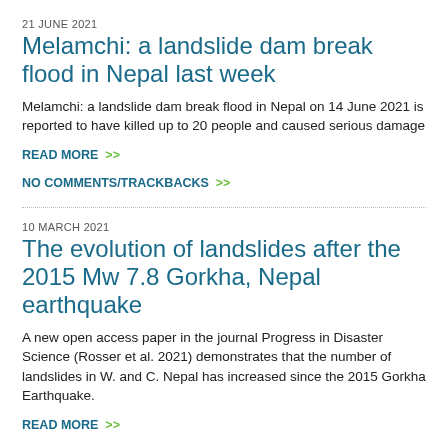21 JUNE 2021
Melamchi: a landslide dam break flood in Nepal last week
Melamchi: a landslide dam break flood in Nepal on 14 June 2021 is reported to have killed up to 20 people and caused serious damage
READ MORE  >>
NO COMMENTS/TRACKBACKS  >>
10 MARCH 2021
The evolution of landslides after the 2015 Mw 7.8 Gorkha, Nepal earthquake
A new open access paper in the journal Progress in Disaster Science (Rosser et al. 2021) demonstrates that the number of landslides in W. and C. Nepal has increased since the 2015 Gorkha Earthquake.
READ MORE  >>